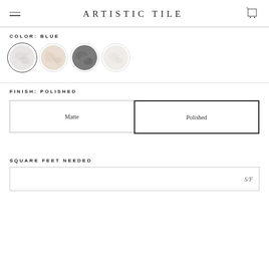ARTISTIC TILE
COLOR: BLUE
[Figure (illustration): Four circular color swatches: first (selected, with dark border) shows light gray/blue-white marble texture; second shows beige/cream marble texture; third shows dark gray marble texture; fourth shows white/light marble texture.]
FINISH: POLISHED
Matte
Polished
SQUARE FEET NEEDED
S/F